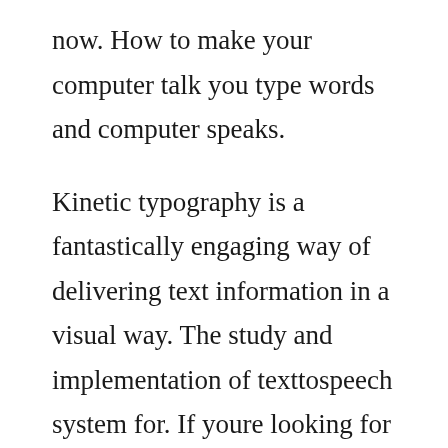now. How to make your computer talk you type words and computer speaks.
Kinetic typography is a fantastically engaging way of delivering text information in a visual way. The study and implementation of texttospeech system for. If youre looking for a text to speech software that suits windows, you should definitely have a look at animaker voice. The font options include font family, font size, font color, outline color, shining color, shade color, keeping the text bold, italics, underlined, etc. Text to speech natural